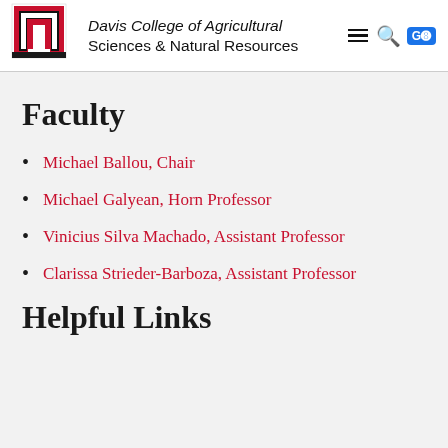Davis College of Agricultural Sciences & Natural Resources
Faculty
Michael Ballou, Chair
Michael Galyean, Horn Professor
Vinicius Silva Machado, Assistant Professor
Clarissa Strieder-Barboza, Assistant Professor
Helpful Links